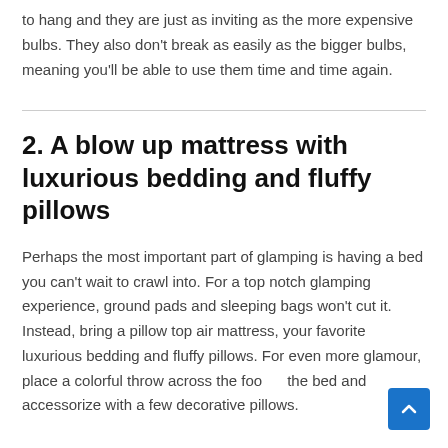to hang and they are just as inviting as the more expensive bulbs. They also don't break as easily as the bigger bulbs, meaning you'll be able to use them time and time again.
2. A blow up mattress with luxurious bedding and fluffy pillows
Perhaps the most important part of glamping is having a bed you can't wait to crawl into. For a top notch glamping experience, ground pads and sleeping bags won't cut it. Instead, bring a pillow top air mattress, your favorite luxurious bedding and fluffy pillows. For even more glamour, place a colorful throw across the foot of the bed and accessorize with a few decorative pillows.